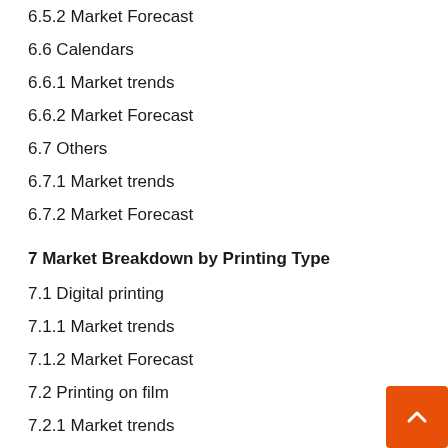6.5.2 Market Forecast
6.6 Calendars
6.6.1 Market trends
6.6.2 Market Forecast
6.7 Others
6.7.1 Market trends
6.7.2 Market Forecast
7 Market Breakdown by Printing Type
7.1 Digital printing
7.1.1 Market trends
7.1.2 Market Forecast
7.2 Printing on film
7.2.1 Market trends
7.2.2 Market Forecast